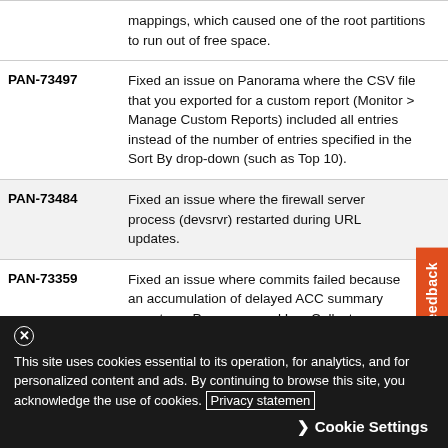| ID | Description |
| --- | --- |
|  | mappings, which caused one of the root partitions to run out of free space. |
| PAN-73497 | Fixed an issue on Panorama where the CSV file that you exported for a custom report (Monitor > Manage Custom Reports) included all entries instead of the number of entries specified in the Sort By drop-down (such as Top 10). |
| PAN-73484 | Fixed an issue where the firewall server process (devsrvr) restarted during URL updates. |
| PAN-73359 | Fixed an issue where commits failed because an accumulation of delayed ACC summary reports on Panorama and Log Collectors caused a memory leak in the reportd process. |
This site uses cookies essential to its operation, for analytics, and for personalized content and ads. By continuing to browse this site, you acknowledge the use of cookies. Privacy statement
Cookie Settings